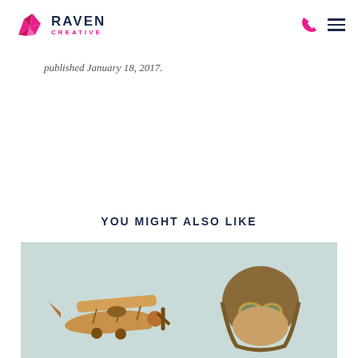RAVEN CREATIVE
published January 18, 2017.
YOU MIGHT ALSO LIKE
[Figure (photo): Child wearing a vintage pilot helmet and goggles holding a wooden toy biplane airplane, light teal background]